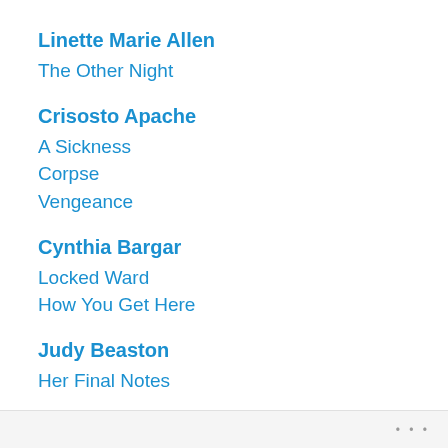Linette Marie Allen
The Other Night
Crisosto Apache
A Sickness
Corpse
Vengeance
Cynthia Bargar
Locked Ward
How You Get Here
Judy Beaston
Her Final Notes
Carol Bindel
...